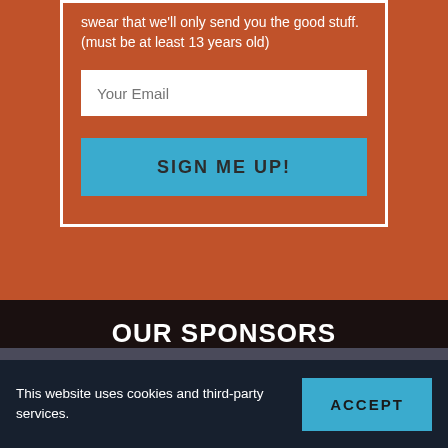swear that we'll only send you the good stuff. (must be at least 13 years old)
Your Email
SIGN ME UP!
OUR SPONSORS
This website uses cookies and third-party services.
ACCEPT